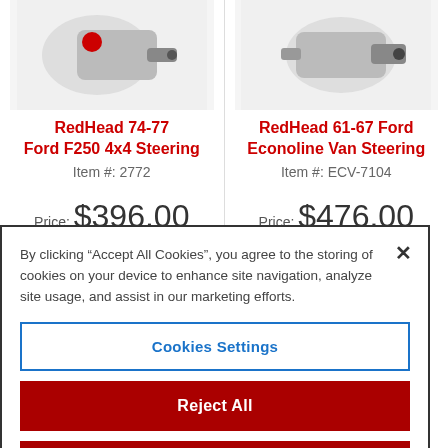[Figure (photo): Product image of RedHead 74-77 Ford F250 4x4 Steering component, showing a steering part with red cap]
RedHead 74-77 Ford F250 4x4 Steering
Item #: 2772
Price: $396.00
Starting at $36/mo with
[Figure (photo): Product image of RedHead 61-67 Ford Econoline Van Steering component]
RedHead 61-67 Ford Econoline Van Steering
Item #: ECV-7104
Price: $476.00
Starting at $44/mo with
By clicking “Accept All Cookies”, you agree to the storing of cookies on your device to enhance site navigation, analyze site usage, and assist in our marketing efforts.
Cookies Settings
Reject All
Accept All Cookies